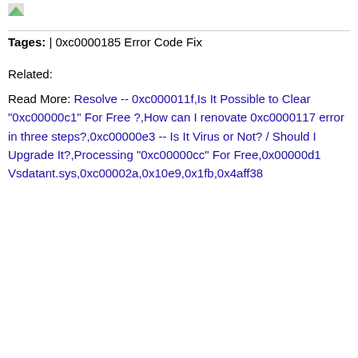[Figure (logo): Small green/icon logo image in top-left corner]
Tages: | 0xc0000185 Error Code Fix
Related:
Read More: Resolve -- 0xc000011f,Is It Possible to Clear "0xc00000c1" For Free ?,How can I renovate 0xc0000117 error in three steps?,0xc00000e3 -- Is It Virus or Not? / Should I Upgrade It?,Processing "0xc00000cc" For Free,0x00000d1 Vsdatant.sys,0xc00002a,0x10e9,0x1fb,0x4aff38